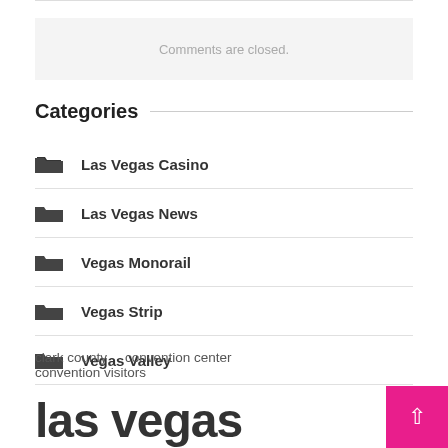Comments are closed.
Categories
Las Vegas Casino
Las Vegas News
Vegas Monorail
Vegas Strip
Vegas Valley
clark county   convention center   convention visitors
las vegas